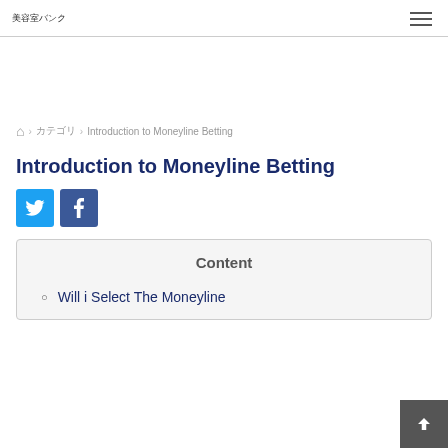美容室バンク
› カテゴリ › Introduction to Moneyline Betting
Introduction to Moneyline Betting
[Figure (other): Social share buttons: Twitter (blue) and Facebook (dark blue)]
Content
Will i Select The Moneyline